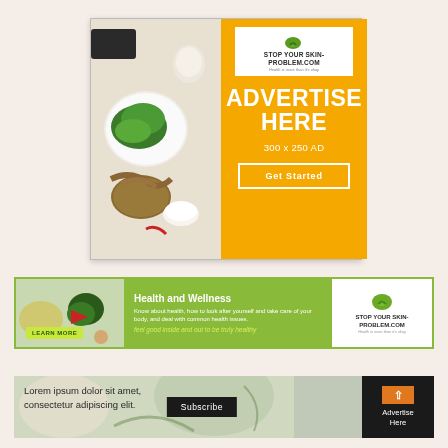[Figure (infographic): Top 300x250 advertisement for StopYourSkinProblem.com featuring herbs photo on left, orange panel on right with logo, ADVERTISE HERE headline, 300x250 AD text, and Get Started button]
[Figure (infographic): Middle 728x90 style banner ad for Health and Wellness with green background, herbs photo on left, learn more button, tagline, and StopYourSkinProblem.com logo on right]
[Figure (infographic): Bottom banner with herbs background, Lorem ipsum text, Subscribe button, and Advertise Here text on dark right panel]